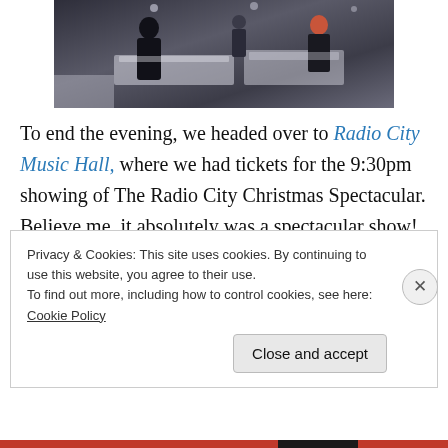[Figure (photo): Interior photo of what appears to be a luxury retail store or hotel lobby with display cases, a person standing in the foreground, and other people in the background.]
To end the evening, we headed over to Radio City Music Hall, where we had tickets for the 9:30pm showing of The Radio City Christmas Spectacular. Believe me, it absolutely was a spectacular show! The Rockettes, alongside the parade of wooden soldiers, the telling of the Christmas Story with live camels and donkeys and 3D glasses, what more could one ask for? It truly was an
Privacy & Cookies: This site uses cookies. By continuing to use this website, you agree to their use.
To find out more, including how to control cookies, see here: Cookie Policy
Close and accept